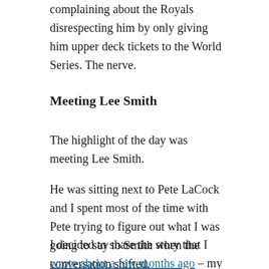complaining about the Royals disrespecting him by only giving him upper deck tickets to the World Series. The nerve.
Meeting Lee Smith
The highlight of the day was meeting Lee Smith.
He was sitting next to Pete LaCock and I spent most of the time with Pete trying to figure out what I was going to say to Smith when the conversation shifted.
I decided to share the story that I wrote about a few months ago – my experience as a 7 year old